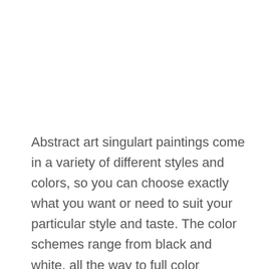Abstract art singulart paintings come in a variety of different styles and colors, so you can choose exactly what you want or need to suit your particular style and taste. The color schemes range from black and white, all the way to full color abstract paintings.